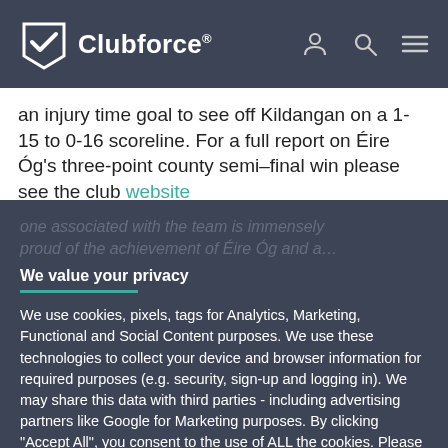Clubforce®
an injury time goal to see off Kildangan on a 1-15 to 0-16 scoreline. For a full report on Éire Óg's three-point county semi-final win please see the club website
We value your privacy
We use cookies, pixels, tags for Analytics, Marketing, Functional and Social Content purposes. We use these technologies to collect your device and browser information for required purposes (e.g. security, sign-up and logging in). We may share this data with third parties - including advertising partners like Google for Marketing purposes. By clicking "Accept All", you consent to the use of ALL the cookies. Please visit our for more information.
ACCEPT ALL
COOKIE SETTINGS